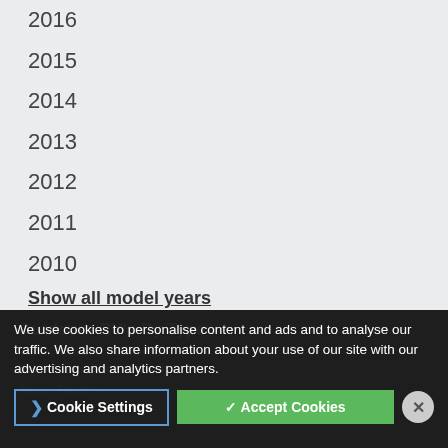2016
2015
2014
2013
2012
2011
2010
Show all model years
Outdoors RV's By Type
Travel Trailers · Midwest
Toy Haulers Travel Trailers
Travel Trailers
We use cookies to personalise content and ads and to analyse our traffic. We also share information about your use of our site with our advertising and analytics partners.